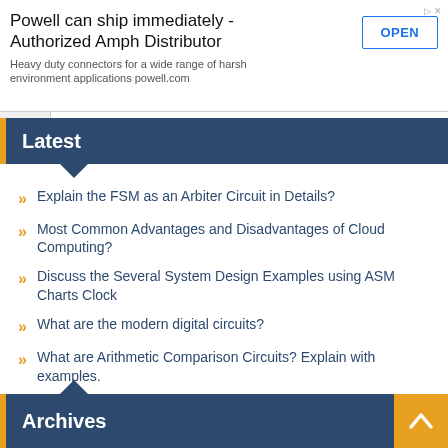[Figure (screenshot): Advertisement banner: Powell can ship immediately - Authorized Amph Distributor, with OPEN button]
Latest
Explain the FSM as an Arbiter Circuit in Details?
Most Common Advantages and Disadvantages of Cloud Computing?
Discuss the Several System Design Examples using ASM Charts Clock
What are the modern digital circuits?
What are Arithmetic Comparison Circuits? Explain with examples.
Archives